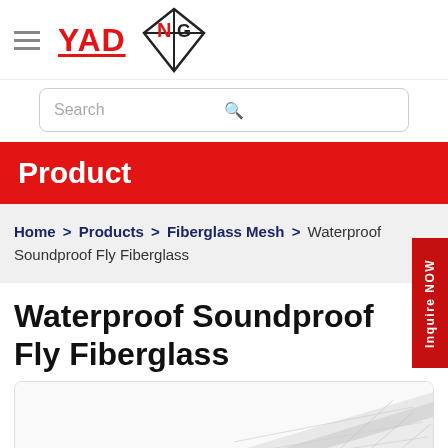[Figure (logo): YAD brand logo in red text with underline and NG company logo with diamond/cross graphic in black and red]
[Figure (screenshot): Search bar with rounded border and a red search icon]
Product
Home > Products > Fiberglass Mesh > Waterproof Soundproof Fly Fiberglass
Waterproof Soundproof Fly Fiberglass
[Figure (photo): Partial image of white/grey fiberglass mesh material shown in lower right]